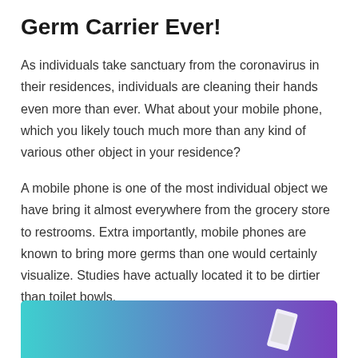Germ Carrier Ever!
As individuals take sanctuary from the coronavirus in their residences, individuals are cleaning their hands even more than ever. What about your mobile phone, which you likely touch much more than any kind of various other object in your residence?
A mobile phone is one of the most individual object we have bring it almost everywhere from the grocery store to restrooms. Extra importantly, mobile phones are known to bring more germs than one would certainly visualize. Studies have actually located it to be dirtier than toilet bowls.
[Figure (photo): Colorful gradient background image (teal to purple) with a phone visible, partially cropped at bottom of page]